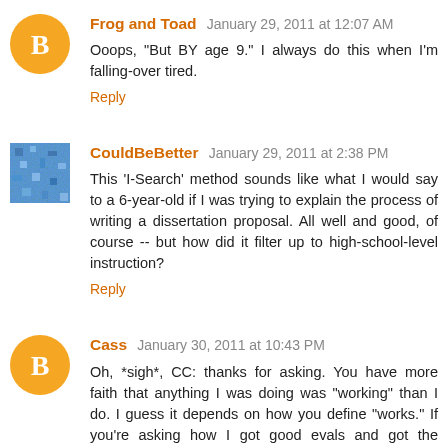Frog and Toad January 29, 2011 at 12:07 AM
Ooops, "But BY age 9." I always do this when I'm falling-over tired.
Reply
CouldBeBetter January 29, 2011 at 2:38 PM
This 'I-Search' method sounds like what I would say to a 6-year-old if I was trying to explain the process of writing a dissertation proposal. All well and good, of course -- but how did it filter up to high-school-level instruction?
Reply
Cass January 30, 2011 at 10:43 PM
Oh, *sigh*, CC: thanks for asking. You have more faith that anything I was doing was "working" than I do. I guess it depends on how you define "works." If you're asking how I got good evals and got the students to like me and maybe even got them to evince mild interest in my field, well, that's